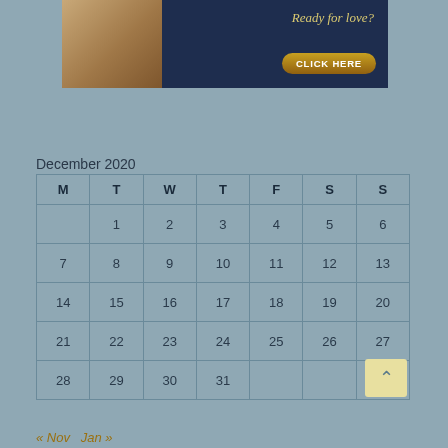[Figure (photo): Dating advertisement banner showing couple embracing with text 'Ready for love?' and a 'CLICK HERE' button]
December 2020
| M | T | W | T | F | S | S |
| --- | --- | --- | --- | --- | --- | --- |
|  | 1 | 2 | 3 | 4 | 5 | 6 |
| 7 | 8 | 9 | 10 | 11 | 12 | 13 |
| 14 | 15 | 16 | 17 | 18 | 19 | 20 |
| 21 | 22 | 23 | 24 | 25 | 26 | 27 |
| 28 | 29 | 30 | 31 |  |  |  |
« Nov  Jan »